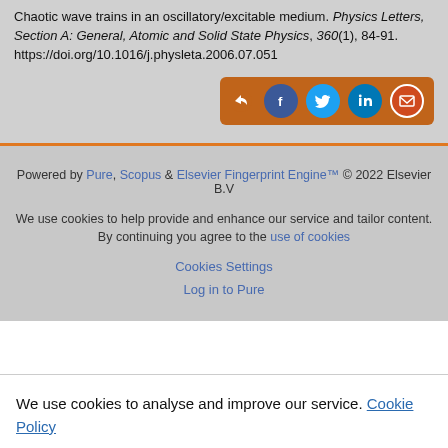Chaotic wave trains in an oscillatory/excitable medium. Physics Letters, Section A: General, Atomic and Solid State Physics, 360(1), 84-91. https://doi.org/10.1016/j.physleta.2006.07.051
[Figure (other): Social share button bar with icons for share, Facebook, Twitter, LinkedIn, and email on an orange/brown background]
Powered by Pure, Scopus & Elsevier Fingerprint Engine™ © 2022 Elsevier B.V
We use cookies to help provide and enhance our service and tailor content. By continuing you agree to the use of cookies
Cookies Settings
Log in to Pure
We use cookies to analyse and improve our service. Cookie Policy